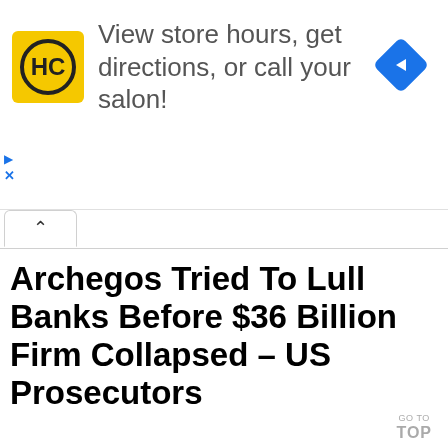[Figure (other): Advertisement banner: HC salon logo (yellow square with HC in black circle), text 'View store hours, get directions, or call your salon!', and a blue navigation diamond icon on the right. Small play and X controls on the left edge.]
[Figure (other): UI tab/accordion element with an upward chevron (^) indicating a collapsible section]
Archegos Tried To Lull Banks Before $36 Billion Firm Collapsed – US Prosecutors
GO TO TOP